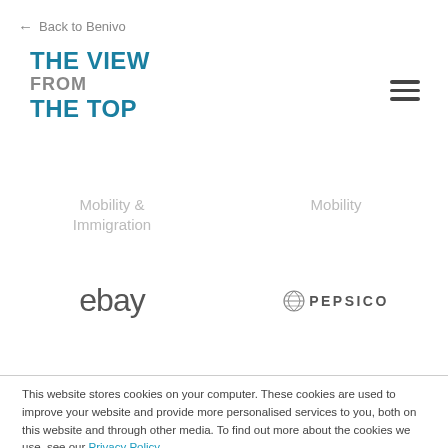← Back to Benivo
[Figure (logo): THE VIEW FROM THE TOP logo in teal/dark blue bold text]
[Figure (illustration): Hamburger menu icon (three horizontal lines)]
Mobility & Immigration
Mobility
[Figure (logo): eBay logo in gray text]
[Figure (logo): PepsiCo logo with globe icon]
This website stores cookies on your computer. These cookies are used to improve your website and provide more personalised services to you, both on this website and through other media. To find out more about the cookies we use, see our Privacy Policy.